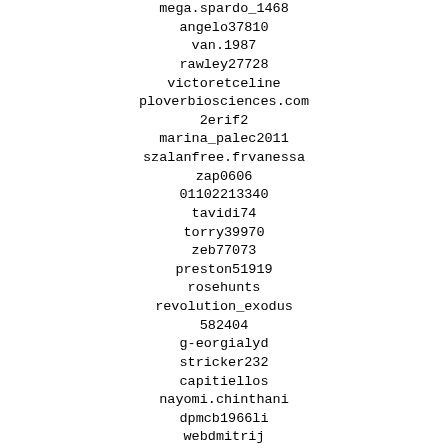mega.spardo_1468
angelo37810
van.1987
rawley27728
victoretceline
ploverbiosciences.com
2erif2
marina_palec2011
szalanfree.frvanessa
zap0606
01102213340
tavidi74
torry39970
zeb77073
preston51919
rosehunts
revolution_exodus
582404
g-eorgialyd
stricker232
capitiellos
nayomi.chinthani
dpmcb1966li
webdmitrij
stu45306
wellness-festhalle
trace88313
tenniss17
solwaykenny
fabian74396
dorkykitty92